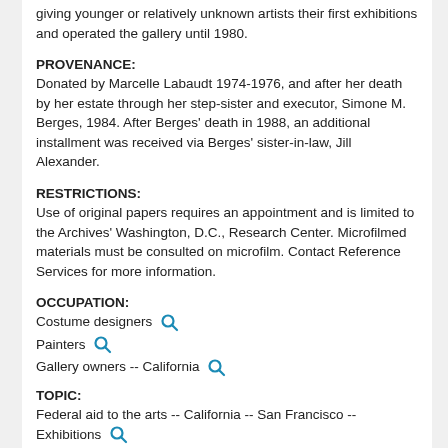giving younger or relatively unknown artists their first exhibitions and operated the gallery until 1980.
PROVENANCE:
Donated by Marcelle Labaudt 1974-1976, and after her death by her estate through her step-sister and executor, Simone M. Berges, 1984. After Berges' death in 1988, an additional installment was received via Berges' sister-in-law, Jill Alexander.
RESTRICTIONS:
Use of original papers requires an appointment and is limited to the Archives' Washington, D.C., Research Center. Microfilmed materials must be consulted on microfilm. Contact Reference Services for more information.
OCCUPATION:
Costume designers
Painters
Gallery owners -- California
TOPIC:
Federal aid to the arts -- California -- San Francisco -- Exhibitions
Art and state -- California -- San Francisco -- Exhibitions
Mural painting and decoration -- 20th century -- California -- San Francisco
Costume -- California -- San Francisco